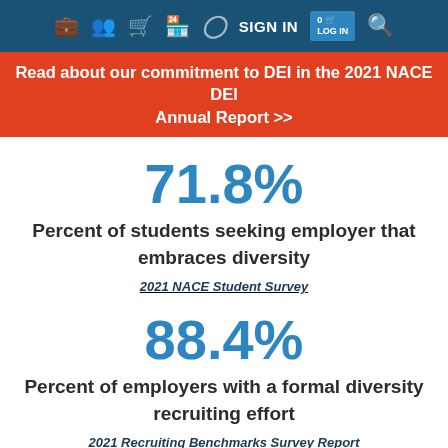SIGN IN  [nav icons]
Read about our commitment to DEI in the 2021 NACE DEI Annual Report >>
71.8%
Percent of students seeking employer that embraces diversity
2021 NACE Student Survey
88.4%
Percent of employers with a formal diversity recruiting effort
2021 Recruiting Benchmarks Survey Report